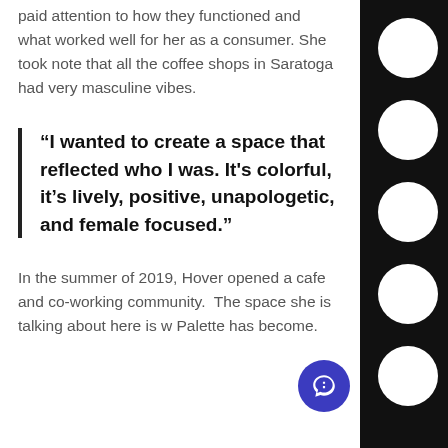paid attention to how they functioned and what worked well for her as a consumer. She took note that all the coffee shops in Saratoga had very masculine vibes.
“I wanted to create a space that reflected who I was. It’s colorful, it’s lively, positive, unapologetic, and female focused.”
In the summer of 2019, Hover opened a cafe and co-working community. The space she is talking about here is w Palette has become.